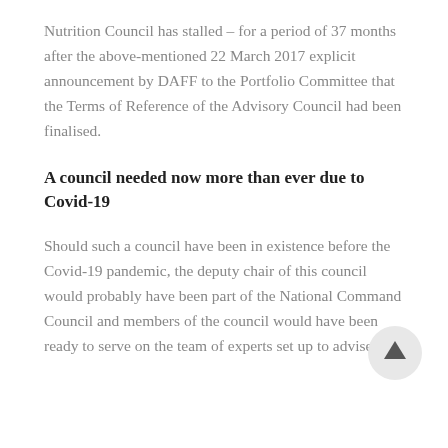Nutrition Council has stalled – for a period of 37 months after the above-mentioned 22 March 2017 explicit announcement by DAFF to the Portfolio Committee that the Terms of Reference of the Advisory Council had been finalised.
A council needed now more than ever due to Covid-19
Should such a council have been in existence before the Covid-19 pandemic, the deputy chair of this council would probably have been part of the National Command Council and members of the council would have been ready to serve on the team of experts set up to advise the